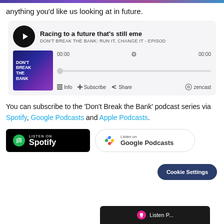anything you'd like us looking at in future.
[Figure (screenshot): Podcast player embed for 'Racing to a future that's still eme...' from DON'T BREAK THE BANK: RUN IT, CHANGE IT - EPISOD... with album art, time display 00:00, progress bar, and controls: Info, Subscribe, Share, zencast logo.]
You can subscribe to the ‘Don’t Break the Bank’ podcast series via Spotify, Google Podcasts and Apple Podcasts.
[Figure (screenshot): Listen on Spotify badge (black background with green Spotify logo)]
[Figure (screenshot): Listen on Google Podcasts badge (white with colorful Google Podcasts icon)]
[Figure (screenshot): Cookie Settings button (dark blue rounded rectangle)]
[Figure (screenshot): Partial Apple Podcasts badge visible at the bottom of the page]